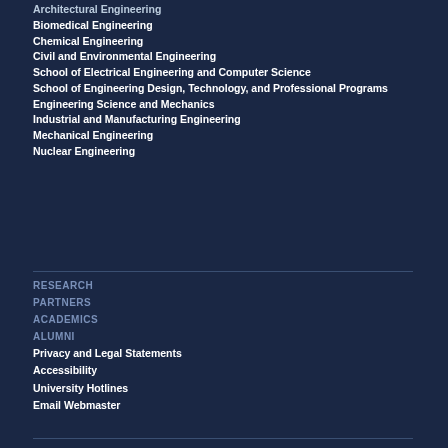Architectural Engineering
Biomedical Engineering
Chemical Engineering
Civil and Environmental Engineering
School of Electrical Engineering and Computer Science
School of Engineering Design, Technology, and Professional Programs
Engineering Science and Mechanics
Industrial and Manufacturing Engineering
Mechanical Engineering
Nuclear Engineering
RESEARCH
PARTNERS
ACADEMICS
ALUMNI
Privacy and Legal Statements
Accessibility
University Hotlines
Email Webmaster